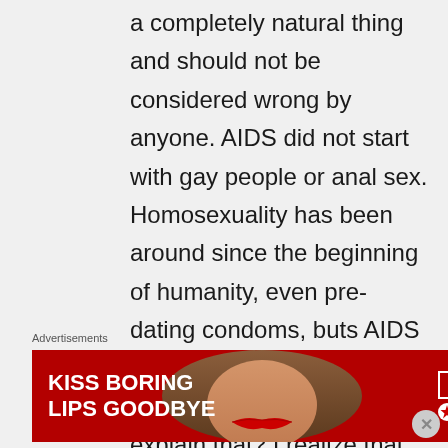a completely natural thing and should not be considered wrong by anyone. AIDS did not start with gay people or anal sex. Homosexuality has been around since the beginning of humanity, even pre-dating condoms, buts AIDS has only been around for 30 years. How do you explain that? I realize that unprotected anal sex is not safe, which is why I don't do
Advertisements
[Figure (infographic): Macy's advertisement banner with red background showing a woman's face with red lipstick, text 'KISS BORING LIPS GOODBYE' on the left, 'SHOP NOW' button and Macy's star logo on the right]